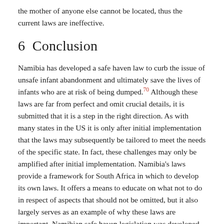the mother of anyone else cannot be located, thus the current laws are ineffective.
6  Conclusion
Namibia has developed a safe haven law to curb the issue of unsafe infant abandonment and ultimately save the lives of infants who are at risk of being dumped.70 Although these laws are far from perfect and omit crucial details, it is submitted that it is a step in the right direction. As with many states in the US it is only after initial implementation that the laws may subsequently be tailored to meet the needs of the specific state. In fact, these challenges may only be amplified after initial implementation. Namibia's laws provide a framework for South Africa in which to develop its own laws. It offers a means to educate on what not to do in respect of aspects that should not be omitted, but it also largely serves as an example of why these laws are important. Namibian safe haven legislation was developed